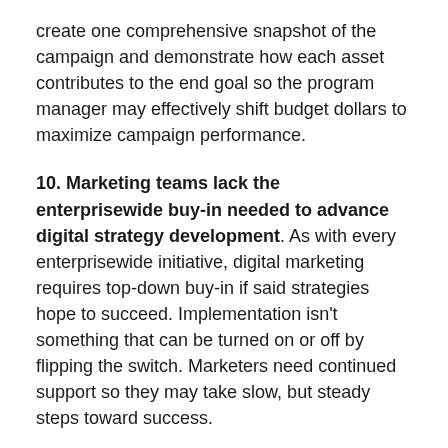create one comprehensive snapshot of the campaign and demonstrate how each asset contributes to the end goal so the program manager may effectively shift budget dollars to maximize campaign performance.
10. Marketing teams lack the enterprisewide buy-in needed to advance digital strategy development. As with every enterprisewide initiative, digital marketing requires top-down buy-in if said strategies hope to succeed. Implementation isn't something that can be turned on or off by flipping the switch. Marketers need continued support so they may take slow, but steady steps toward success.
What to do: Gain executive buy-in and build partner relationships to enable a unified marketing strategy. True commitment must be supported from the top, or the investments can only go so far with it.